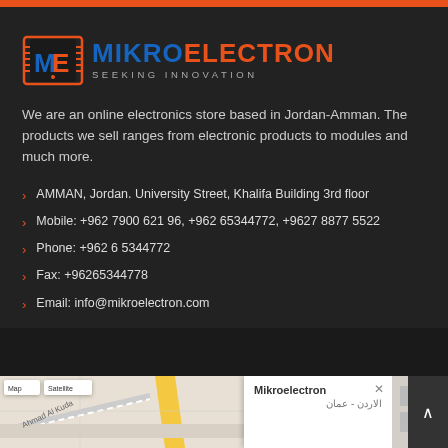[Figure (logo): MikroElectron logo — circuit board icon with ME letters, orange border, blue MIKRO and orange ELECTRON text, subtitle SEEKING INNOVATION in grey]
We are an online electronics store based in Jordan-Amman. The products we sell ranges from electronic products to modules and much more.
AMMAN, Jordan. University Street, Khalifa Building 3rd floor
Mobile: +962 7900 621 96, +962 65344772, +9627 8877 5522
Phone: +962 6 5344772
Fax: +96265344778
Email: info@mikroelectron.com
[Figure (map): Google Map snippet showing Mikroelectron location in Amman, Jordan with popup label, Map/Satellite controls, and a yellow road visible]